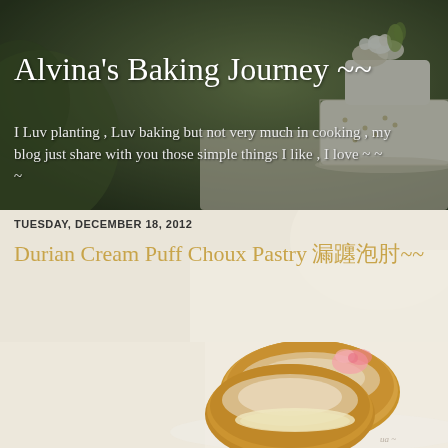[Figure (photo): Blog header background photo showing a wedding cake with white flowers and blurred background]
Alvina's Baking Journey ~~
I Luv planting , Luv baking but not very much in cooking , my blog just share with you those simple things I like , I love ~ ~ ~
TUESDAY, DECEMBER 18, 2012
Durian Cream Puff Choux Pastry 榴莲泡芙~~
[Figure (photo): Photo of cream puffs (choux pastry) dusted with powdered sugar on a white plate, with cream filling visible]